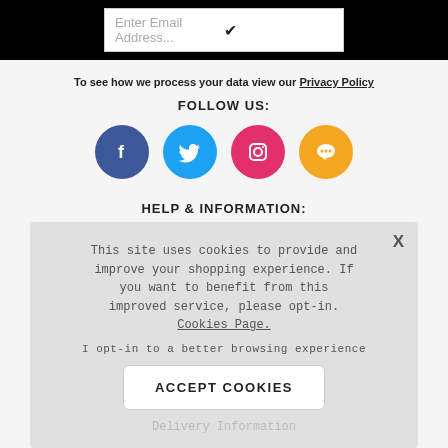Enter Email Address...
To see how we process your data view our Privacy Policy
FOLLOW US:
[Figure (illustration): Four social media icons in colored circles: Facebook (blue), Twitter (light blue), Instagram (pink/red), and a chat/message icon (orange).]
HELP & INFORMATION:
This site uses cookies to provide and improve your shopping experience. If you want to benefit from this improved service, please opt-in. Cookies Page.

I opt-in to a better browsing experience
ACCEPT COOKIES
Delivery Information